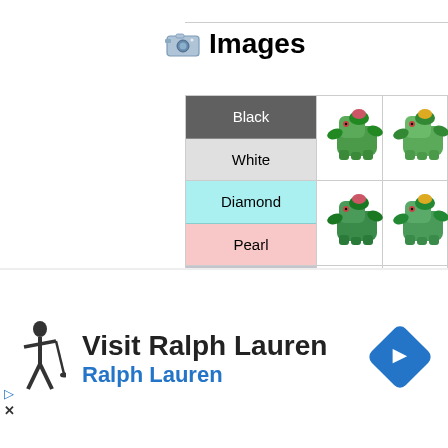Images
| Version | Sprite 1 | Sprite 2 |
| --- | --- | --- |
| Black / White | [ivysaur sprite] | [shiny ivysaur sprite] |
| Diamond / Pearl | [ivysaur sprite] | [shiny ivysaur sprite] |
| Platinum | [ivysaur sprite] | [shiny ivysaur sprite] |
[Figure (infographic): Advertisement: Visit Ralph Lauren, Ralph Lauren, with polo player logo and blue direction arrow icon]